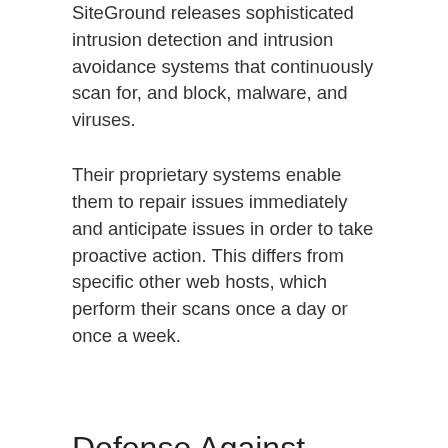SiteGround releases sophisticated intrusion detection and intrusion avoidance systems that continuously scan for, and block, malware, and viruses.
Their proprietary systems enable them to repair issues immediately and anticipate issues in order to take proactive action. This differs from specific other web hosts, which perform their scans once a day or once a week.
Defense Against Hacking